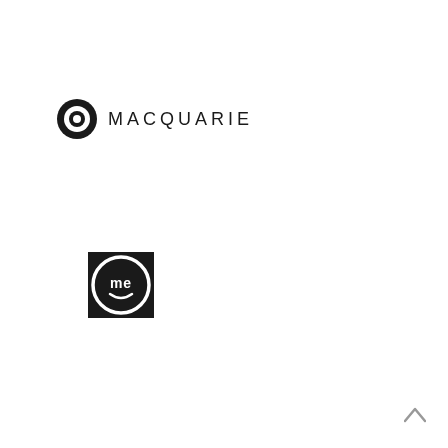[Figure (logo): Macquarie logo: black circle with white inner ring (donut shape) followed by the text MACQUARIE in uppercase spaced letters]
[Figure (logo): ME Bank logo: black square containing a white circle with lowercase 'me' text and a smile curve beneath, resembling a smiley face]
[Figure (other): Up arrow chevron icon in grey, located bottom-right corner]